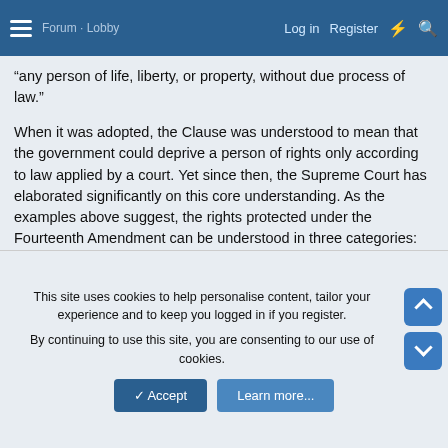Log in  Register
“any person of life, liberty, or property, without due process of law.”
When it was adopted, the Clause was understood to mean that the government could deprive a person of rights only according to law applied by a court. Yet since then, the Supreme Court has elaborated significantly on this core understanding. As the examples above suggest, the rights protected under the Fourteenth Amendment can be understood in three categories: (1) “procedural due process;” (2) the individual rights listed in the Bill of Rights, “incorporated” against the states; and (3) “substantive due process.”
Unless this Reagan junior person has the power to change that, this is the law.
This site uses cookies to help personalise content, tailor your experience and to keep you logged in if you register.
By continuing to use this site, you are consenting to our use of cookies.